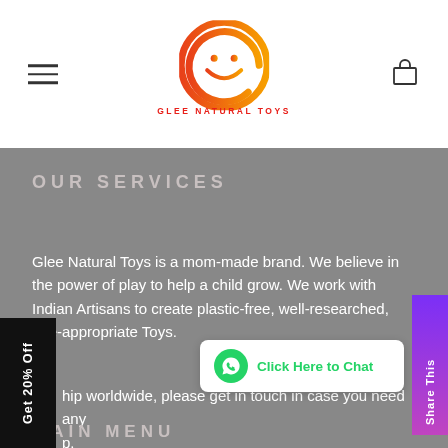[Figure (logo): Glee Natural Toys logo — orange/red circular G with smiley face, text GLEE NATURAL TOYS in red below]
OUR SERVICES
Glee Natural Toys is a mom-made brand. We believe in the power of play to help a child grow. We work with Indian Artisans to create plastic-free, well-researched, age-appropriate Toys.
ship worldwide, please get in touch in case you need any p.
MAIN MENU